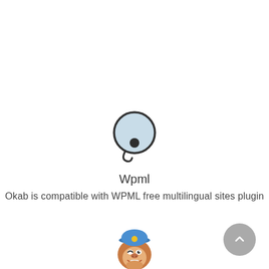[Figure (logo): WPML plugin logo — a circular yin-yang style icon with dark gray and light blue halves and a small curled tail]
Wpml
Okab is compatible with WPML free multilingual sites plugin
[Figure (logo): Mailchimp logo — cartoon monkey face wearing a blue police/captain hat, winking]
[Figure (other): Gray circular scroll-to-top button with an upward-pointing chevron arrow]